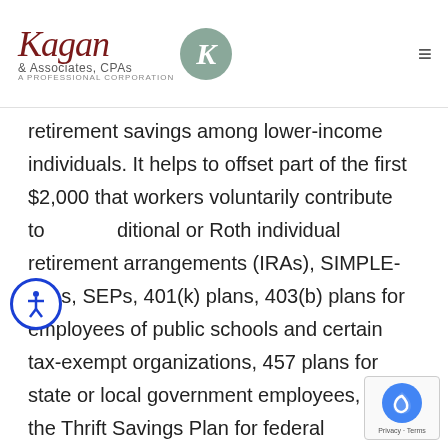Kagan & Associates, CPAs — A Professional Corporation
retirement savings among lower-income individuals. It helps to offset part of the first $2,000 that workers voluntarily contribute to traditional or Roth individual retirement arrangements (IRAs), SIMPLE-IRAs, SEPs, 401(k) plans, 403(b) plans for employees of public schools and certain tax-exempt organizations, 457 plans for state or local government employees, and the Thrift Savings Plan for federal employees. The saver's credit is available in addition to any other tax savings that may be available for all the